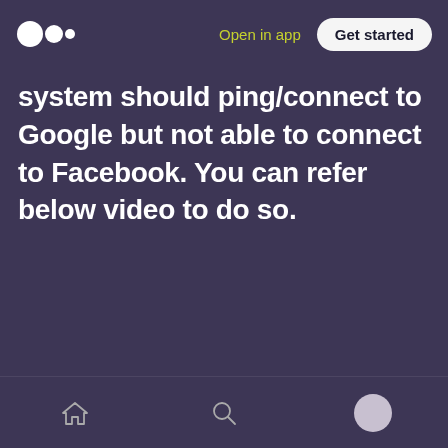Open in app  Get started
system should ping/connect to Google but not able to connect to Facebook. You can refer below video to do so.
[home icon] [search icon] [profile icon]